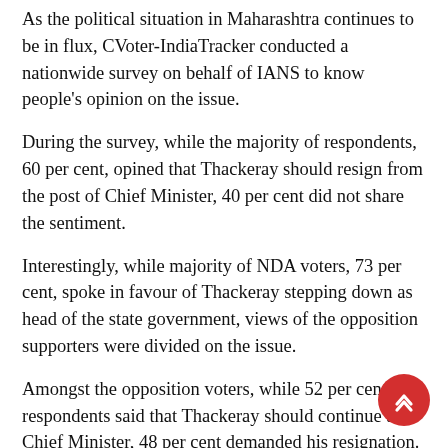As the political situation in Maharashtra continues to be in flux, CVoter-IndiaTracker conducted a nationwide survey on behalf of IANS to know people's opinion on the issue.
During the survey, while the majority of respondents, 60 per cent, opined that Thackeray should resign from the post of Chief Minister, 40 per cent did not share the sentiment.
Interestingly, while majority of NDA voters, 73 per cent, spoke in favour of Thackeray stepping down as head of the state government, views of the opposition supporters were divided on the issue.
Amongst the opposition voters, while 52 per cent respondents said that Thackeray should continue as Chief Minister, 48 per cent demanded his resignation.